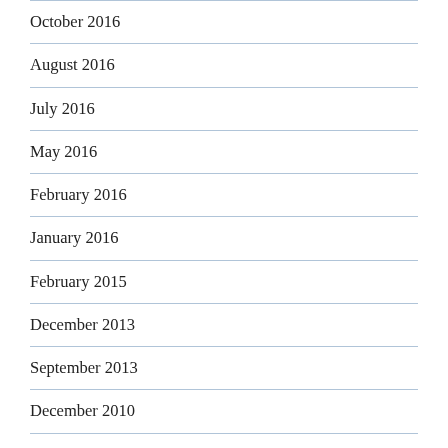October 2016
August 2016
July 2016
May 2016
February 2016
January 2016
February 2015
December 2013
September 2013
December 2010
October 2010